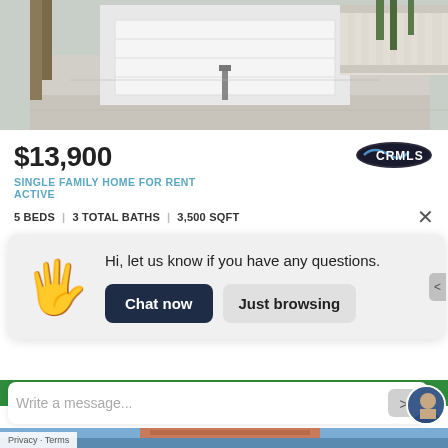[Figure (photo): Exterior photo of a house driveway with white garage door and balustrade railing, palm trees visible]
$13,900
[Figure (logo): CRMLS logo — black oval with blue swoosh and text CRMLS]
SINGLE FAMILY HOME FOR RENT
ACTIVE
5 BEDS  |  3 TOTAL BATHS  |  3,500 SQFT
Hi, let us know if you have any questions.
Chat now    Just browsing
Write a message...
Privacy · Terms